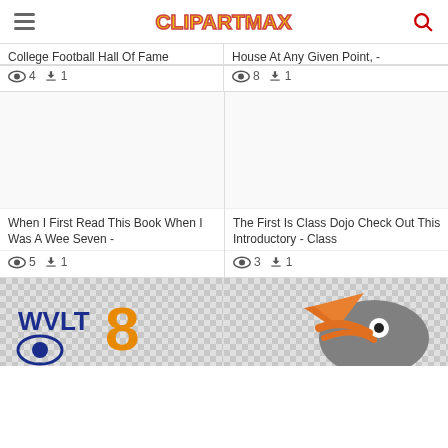CLIPARTMAX
College Football Hall Of Fame
views: 4  downloads: 1
House At Any Given Point, -
views: 8  downloads: 1
[Figure (illustration): Blank white illustration card]
When I First Read This Book When I Was A Wee Seven -
views: 5  downloads: 1
[Figure (illustration): Blank white illustration card]
The First Is Class Dojo Check Out This Introductory - Class
views: 3  downloads: 1
[Figure (logo): WVLT 8 CBS news logo with blue and orange text on checkered background]
[Figure (illustration): Orange and gray bird/mascot logo on checkered background]